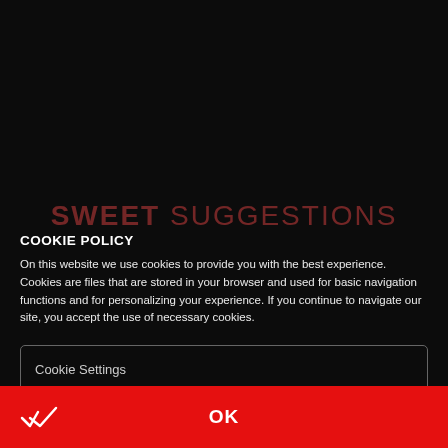[Figure (screenshot): White input/text area box with gray border at top of page]
[Figure (screenshot): Dark background with faint red 'SWEET SUGGESTIONS' heading and cookie policy modal overlay]
COOKIE POLICY
On this website we use cookies to provide you with the best experience. Cookies are files that are stored in your browser and used for basic navigation functions and for personalizing your experience. If you continue to navigate our site, you accept the use of necessary cookies.
Cookie Settings
OK